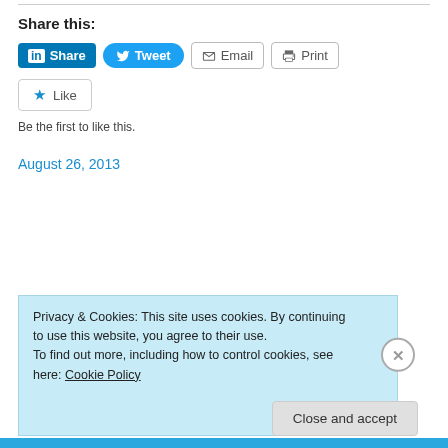Share this:
[Figure (other): Social sharing buttons: LinkedIn Share, Tweet, Email, Print]
[Figure (other): Like button with star icon]
Be the first to like this.
August 26, 2013
Privacy & Cookies: This site uses cookies. By continuing to use this website, you agree to their use.
To find out more, including how to control cookies, see here: Cookie Policy
Close and accept